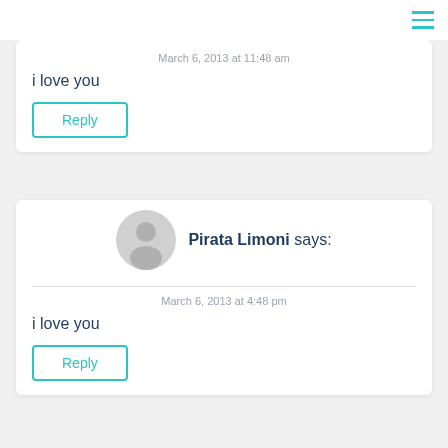≡
March 6, 2013 at 11:48 am
i love you
Reply
Pirata Limoni says:
March 6, 2013 at 4:48 pm
i love you
Reply